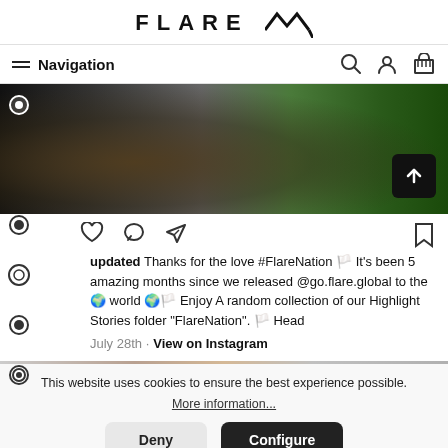FLARE (logo with mountain/zigzag symbol)
Navigation
[Figure (photo): Cropped outdoor photo showing a person in dark clothing with a camera/equipment, on green grass background]
[Figure (illustration): Social interaction icons: heart, speech bubble, send/paper plane, bookmark]
updated Thanks for the love #FlareNation 🏳️ It's been 5 amazing months since we released @go.flare.global to the 🌍 world 🌍🏳️ Enjoy A random collection of our Highlight Stories folder "FlareNation". 🏳️ Head
July 28th · View on Instagram
This website uses cookies to ensure the best experience possible.
More information...
Deny | Configure